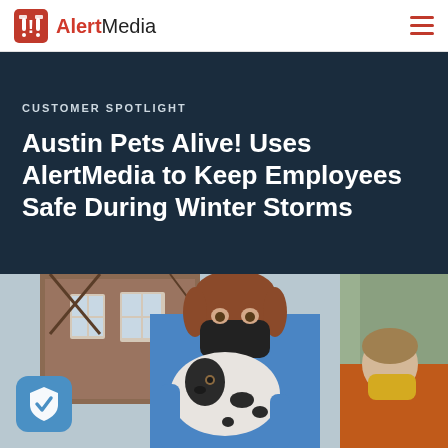AlertMedia
CUSTOMER SPOTLIGHT
Austin Pets Alive! Uses AlertMedia to Keep Employees Safe During Winter Storms
[Figure (photo): A woman wearing a black face mask and blue t-shirt holds a black and white spotted dog outdoors. In the background is a brick building with white-framed windows and another woman in a yellow mask and orange shirt. A blue shield badge icon with a checkmark appears in the lower left corner.]